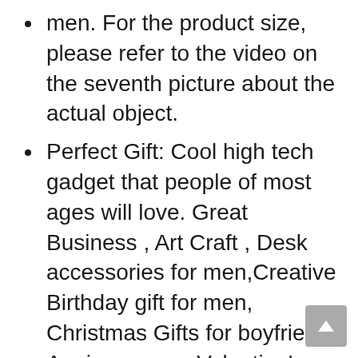men. For the product size, please refer to the video on the seventh picture about the actual object.
Perfect Gift: Cool high tech gadget that people of most ages will love. Great Business , Art Craft , Desk accessories for men,Creative Birthday gift for men, Christmas Gifts for boyfriend, Anniversary or Valentine's day gifts ,Father's Days gift ideas.
Nice atmosphere: It will give you nice feeling When you work, chat or other occasions with friends. PS : Please kindly be advised that you can also float the globe without the auxiliary tool. The tool is just help you easier to float the globe, It doesn't mean that the product can't work without the